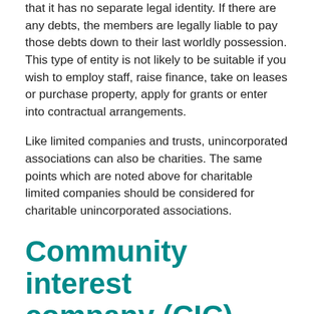that it has no separate legal identity. If there are any debts, the members are legally liable to pay those debts down to their last worldly possession. This type of entity is not likely to be suitable if you wish to employ staff, raise finance, take on leases or purchase property, apply for grants or enter into contractual arrangements.
Like limited companies and trusts, unincorporated associations can also be charities. The same points which are noted above for charitable limited companies should be considered for charitable unincorporated associations.
Community interest company (CIC)
These are specific limited companies that provide benefits to the community. This type of structure was